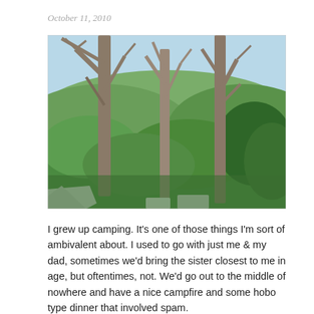October 11, 2010
[Figure (photo): Outdoor nature photograph showing bare tree trunks and branches in the foreground with lush green foliage, bushes, and mountains visible in the background under a blue sky. A white structure is partially visible at the bottom left corner.]
I grew up camping. It's one of those things I'm sort of ambivalent about. I used to go with just me & my dad, sometimes we'd bring the sister closest to me in age, but oftentimes, not. We'd go out to the middle of nowhere and have a nice campfire and some hobo type dinner that involved spam.